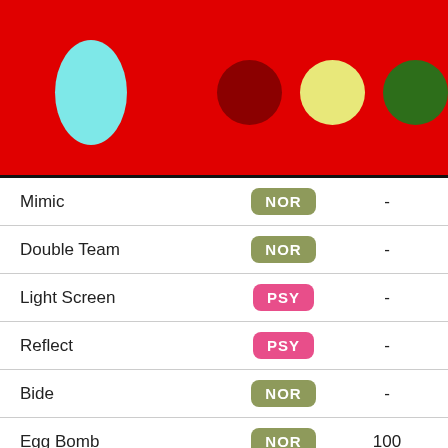[Figure (illustration): Red header banner with a large cyan circle on the left and three smaller circles (dark red, yellow-green, dark green) on the right]
| Move | Type | Col3 | Col4 | PP |
| --- | --- | --- | --- | --- |
| Mimic | NOR | - | - | 10 |
| Double Team | NOR | - | - | 15 |
| Light Screen | PSY | - | - | 30 |
| Reflect | PSY | - | - | 20 |
| Bide | NOR | - | - | 10 |
| Egg Bomb | NOR | 100 | 75 | 10 |
| Dream Eater | PSY | 100 | 100 | 15 |
| Flash | NOR | - | 100 | 20 |